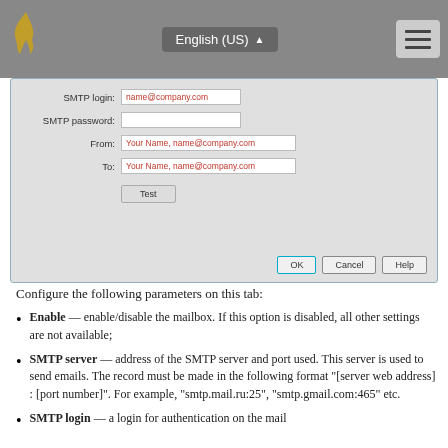[Figure (screenshot): Dialog window showing SMTP configuration fields: SMTP login (name@company.com), SMTP password (blank), From (Your Name, name@company.com), To (Your Name, name@company.com), Test button, and OK/Cancel/Help buttons at bottom.]
Configure the following parameters on this tab:
Enable — enable/disable the mailbox. If this option is disabled, all other settings are not available;
SMTP server — address of the SMTP server and port used. This server is used to send emails. The record must be made in the following format "[server web address] : [port number]". For example, "smtp.mail.ru:25", "smtp.gmail.com:465" etc.
SMTP login — a login for authentication on the mail